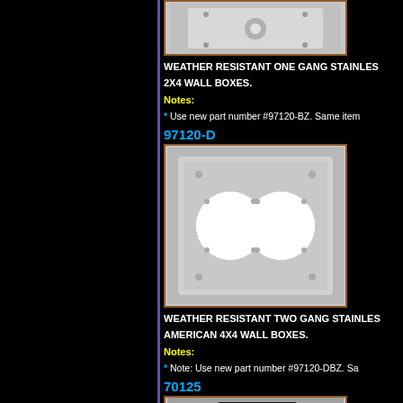[Figure (photo): Weather resistant one gang stainless steel wall plate product photo, single circular cutout]
WEATHER RESISTANT ONE GANG STAINLESS 2X4 WALL BOXES.
Notes:
* Use new part number #97120-BZ. Same item
97120-D
[Figure (photo): Weather resistant two gang stainless steel wall plate with two large circular cutouts]
WEATHER RESISTANT TWO GANG STAINLESS AMERICAN 4X4 WALL BOXES.
Notes:
* Note: Use new part number #97120-DBZ. Sa
70125
[Figure (photo): Black electrical conduit wall box product photo]